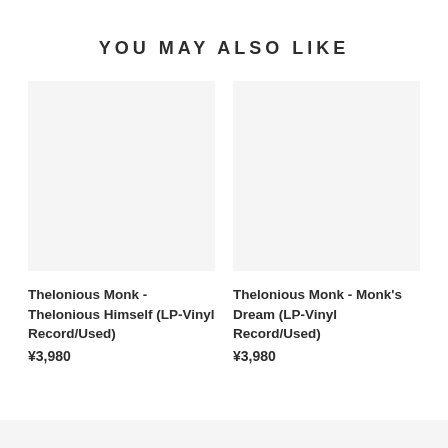YOU MAY ALSO LIKE
[Figure (other): Product image placeholder for Thelonious Monk - Thelonious Himself (LP-Vinyl Record/Used), light gray box]
Thelonious Monk - Thelonious Himself (LP-Vinyl Record/Used)
¥3,980
[Figure (other): Product image placeholder for Thelonious Monk - Monk's Dream (LP-Vinyl Record/Used), light gray box]
Thelonious Monk - Monk's Dream (LP-Vinyl Record/Used)
¥3,980